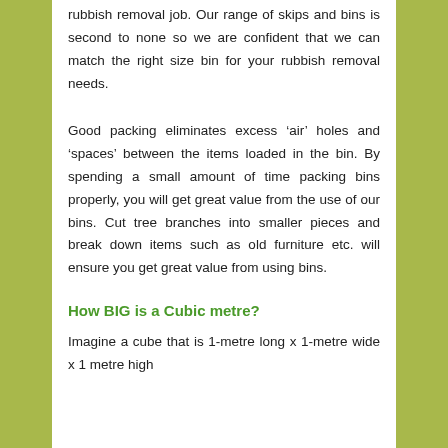rubbish removal job. Our range of skips and bins is second to none so we are confident that we can match the right size bin for your rubbish removal needs.
Good packing eliminates excess ‘air’ holes and ‘spaces’ between the items loaded in the bin. By spending a small amount of time packing bins properly, you will get great value from the use of our bins. Cut tree branches into smaller pieces and break down items such as old furniture etc. will ensure you get great value from using bins.
How BIG is a Cubic metre?
Imagine a cube that is 1-metre long x 1-metre wide x 1 metre high